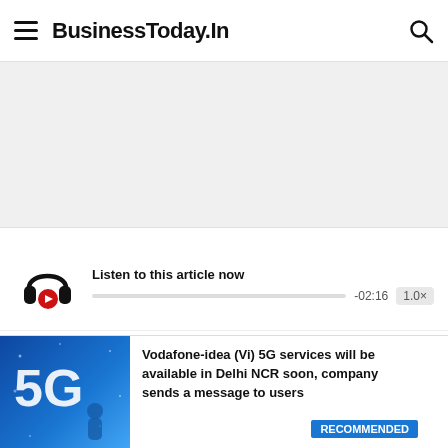BusinessToday.In
[Figure (other): Advertisement banner placeholder, light gray background]
[Figure (other): Audio player widget with headphone icon, play button, progress bar showing -02:16, and 1.0x speed button. Title: Listen to this article now]
BusinessToday.In
New Delhi, Oct 18, 2017,
Updated Oct 18, 2017, 10:00 PM IST
[Figure (other): 5G promotional banner for Vodafone-idea (Vi) with blue background showing 5G text and person silhouette]
Vodafone-idea (Vi) 5G services will be available in Delhi NCR soon, company sends a message to users
RECOMMENDED